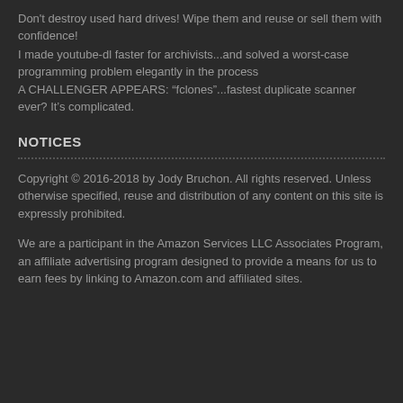Don't destroy used hard drives! Wipe them and reuse or sell them with confidence!
I made youtube-dl faster for archivists...and solved a worst-case programming problem elegantly in the process
A CHALLENGER APPEARS: “fclones”...fastest duplicate scanner ever? It’s complicated.
NOTICES
Copyright © 2016-2018 by Jody Bruchon. All rights reserved. Unless otherwise specified, reuse and distribution of any content on this site is expressly prohibited.
We are a participant in the Amazon Services LLC Associates Program, an affiliate advertising program designed to provide a means for us to earn fees by linking to Amazon.com and affiliated sites.